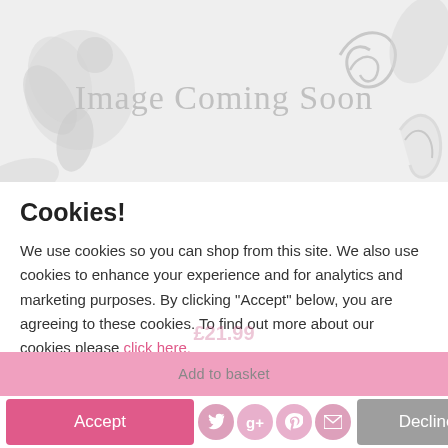[Figure (other): Image Coming Soon placeholder with decorative floral/scroll background pattern in light gray]
Cookies!
We use cookies so you can shop from this site. We also use cookies to enhance your experience and for analytics and marketing purposes. By clicking "Accept" below, you are agreeing to these cookies. To find out more about our cookies please click here.
Add to basket
Accept
Decline